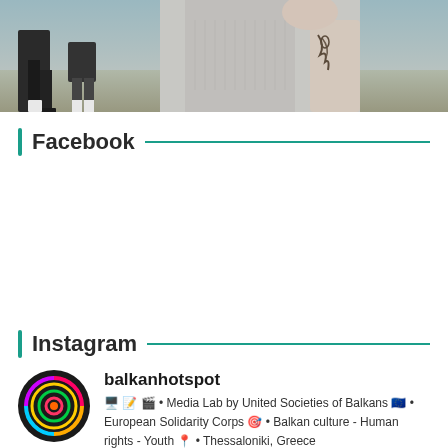[Figure (photo): Cropped photo showing people outdoors, partially visible legs and torso of a person wearing a light-colored top with a tattoo on their arm]
Facebook
Instagram
balkanhotspot
🖥️ 📝 🎬 • Media Lab by United Societies of Balkans 🇪🇺 • European Solidarity Corps 🎯 • Balkan culture - Human rights - Youth 📍 • Thessaloniki, Greece